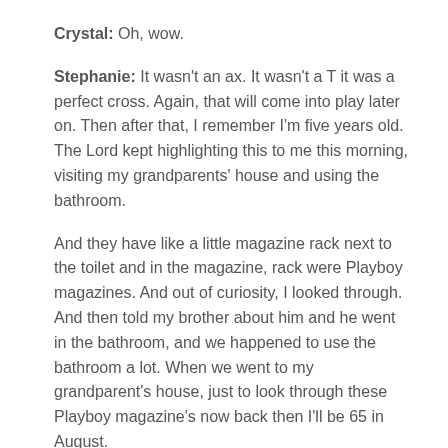Crystal: Oh, wow.
Stephanie: It wasn't an ax. It wasn't a T it was a perfect cross. Again, that will come into play later on. Then after that, I remember I'm five years old. The Lord kept highlighting this to me this morning, visiting my grandparents' house and using the bathroom.
And they have like a little magazine rack next to the toilet and in the magazine, rack were Playboy magazines. And out of curiosity, I looked through. And then told my brother about him and he went in the bathroom, and we happened to use the bathroom a lot. When we went to my grandparent's house, just to look through these Playboy magazine's now back then I'll be 65 in August.
So, you know, we'll just give you some parameters of what timeframe it was, but apparently it wasn't, they